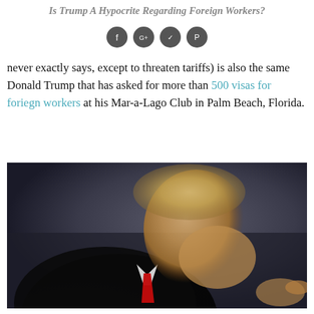Is Trump A Hypocrite Regarding Foreign Workers?
who t ... at they've sent to ... will do this, he never exactly says, except to threaten tariffs) is also the same Donald Trump that has asked for more than 500 visas for foriegn workers at his Mar-a-Lago Club in Palm Beach, Florida.
[Figure (photo): Photograph of Donald Trump in profile view, pointing, wearing dark suit and red tie, speaking at an event.]